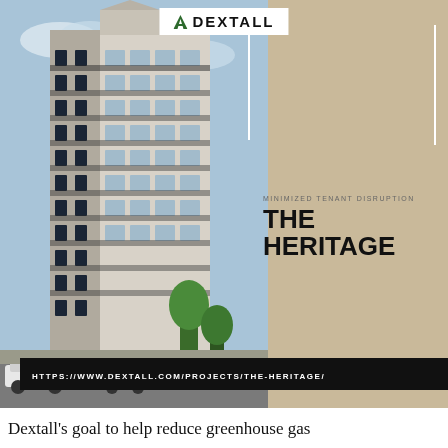[Figure (logo): Dextall company logo with angular icon and text 'DEXTALL']
[Figure (photo): Architectural rendering of a tall modern residential building called The Heritage, shown at street level with cars and trees in foreground]
MINIMIZED TENANT DISRUPTION
THE HERITAGE
HTTPS://WWW.DEXTALL.COM/PROJECTS/THE-HERITAGE/
Dextall's goal to help reduce greenhouse gas